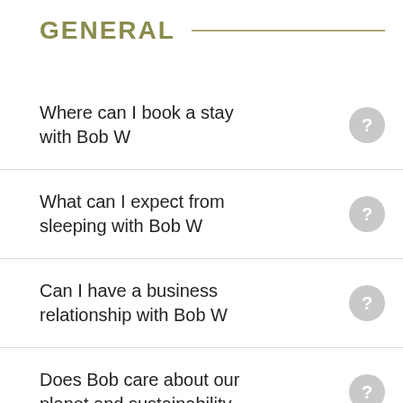GENERAL
Where can I book a stay with Bob W
What can I expect from sleeping with Bob W
Can I have a business relationship with Bob W
Does Bob care about our planet and sustainability
How long can I sleep with Bob W? A night, weeks or